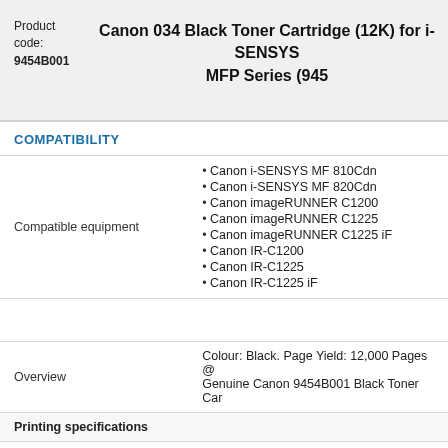Product code:
9454B001
Canon 034 Black Toner Cartridge (12K) for i-SENSYS MFP Series (945…)
COMPATIBILITY
|  |  |
| --- | --- |
| Compatible equipment | • Canon i-SENSYS MF 810Cdn
• Canon i-SENSYS MF 820Cdn
• Canon imageRUNNER C1200
• Canon imageRUNNER C1225
• Canon imageRUNNER C1225 iF
• Canon IR-C1200
• Canon IR-C1225
• Canon IR-C1225 iF |
|  |  |
| Overview | Colour: Black. Page Yield: 12,000 Pages @...
Genuine Canon 9454B001 Black Toner Car... |
| Printing specifications |  |
| Cartridge colors | Negru / Black |